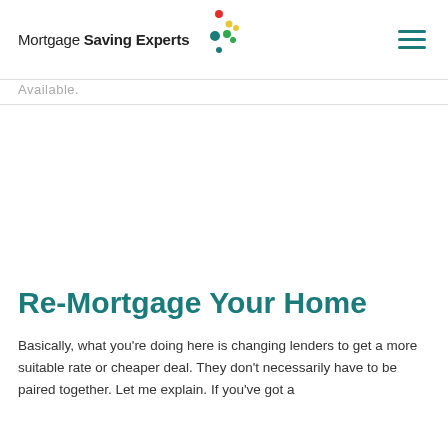Mortgage Saving Experts
Available.
Re-Mortgage Your Home
Basically, what you're doing here is changing lenders to get a more suitable rate or cheaper deal. They don't necessarily have to be paired together. Let me explain. If you've got a